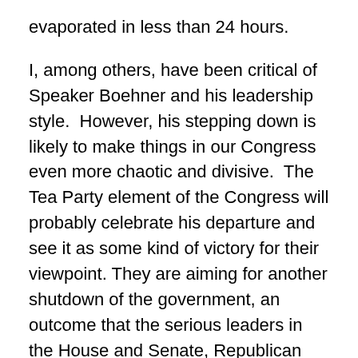evaporated in less than 24 hours.
I, among others, have been critical of Speaker Boehner and his leadership style.  However, his stepping down is likely to make things in our Congress even more chaotic and divisive.  The Tea Party element of the Congress will probably celebrate his departure and see it as some kind of victory for their viewpoint. They are aiming for another shutdown of the government, an outcome that the serious leaders in the House and Senate, Republican and Democrat, are seeking to avoid.  We shall see if they are succesful as things unfold.
None-the-less, such developments are the antithesis of the Pope's message. Already seemingly lost is his plea to the Congress, and through them to all of us as citizens, that we remember our history and our purpose as a